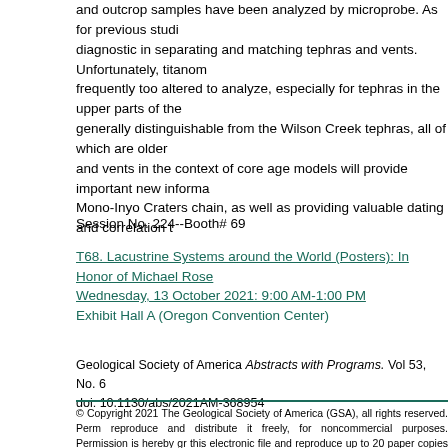and outcrop samples have been analyzed by microprobe. As for previous studies, diagnostic in separating and matching tephras and vents. Unfortunately, titanom frequently too altered to analyze, especially for tephras in the upper parts of the generally distinguishable from the Wilson Creek tephras, all of which are older and vents in the context of core age models will provide important new informa Mono-Inyo Craters chain, as well as providing valuable dating and correlation t
Session No. 224--Booth# 69
T68. Lacustrine Systems around the World (Posters): In Honor of Michael Rose Wednesday, 13 October 2021: 9:00 AM-1:00 PM
Exhibit Hall A (Oregon Convention Center)
Geological Society of America Abstracts with Programs. Vol 53, No. 6
doi: 10.1130/abs/2021AM-368954
© Copyright 2021 The Geological Society of America (GSA), all rights reserved. Permission is hereby granted to the author(s) of this abstract to reproduce and distribute it freely, for noncommercial purposes. Permission is hereby granted to any individual scientist to download a single copy of this electronic file and reproduce up to 20 paper copies for noncommercial purposes advancing science and education, including classroom use, providing all reproductions include the complete content shown here, including the author information. All other forms of reproduction and/or transmittal are prohibited without written permission from GSA Copyright Permissions.
Back to: T68. Lacustrine Systems around the World (Pos
<< Previous Abstract | Next Abs